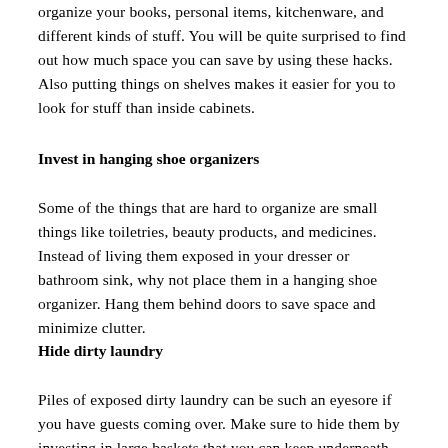organize your books, personal items, kitchenware, and different kinds of stuff. You will be quite surprised to find out how much space you can save by using these hacks. Also putting things on shelves makes it easier for you to look for stuff than inside cabinets.
Invest in hanging shoe organizers
Some of the things that are hard to organize are small things like toiletries, beauty products, and medicines. Instead of living them exposed in your dresser or bathroom sink, why not place them in a hanging shoe organizer. Hang them behind doors to save space and minimize clutter.
Hide dirty laundry
Piles of exposed dirty laundry can be such an eyesore if you have guests coming over. Make sure to hide them by investing in large baskets that you can keep underneath the bathroom sink. It would help if you did the same thing for piled towels